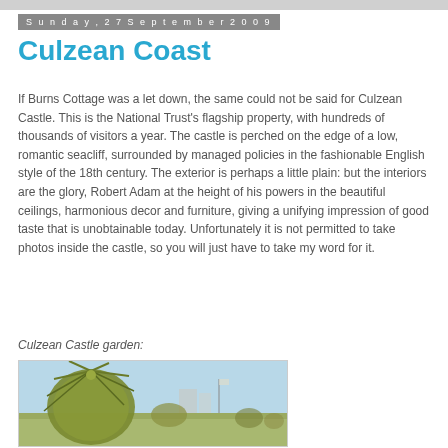Sunday, 27 September 2009
Culzean Coast
If Burns Cottage was a let down, the same could not be said for Culzean Castle. This is the National Trust's flagship property, with hundreds of thousands of visitors a year. The castle is perched on the edge of a low, romantic seacliff, surrounded by managed policies in the fashionable English style of the 18th century. The exterior is perhaps a little plain: but the interiors are the glory, Robert Adam at the height of his powers in the beautiful ceilings, harmonious decor and furniture, giving a unifying impression of good taste that is unobtainable today. Unfortunately it is not permitted to take photos inside the castle, so you will just have to take my word for it.
Culzean Castle garden:
[Figure (photo): Photo of Culzean Castle garden showing a large spiky plant (yucca or palm-like) in the foreground against a light blue sky, with castle structures visible in the background.]